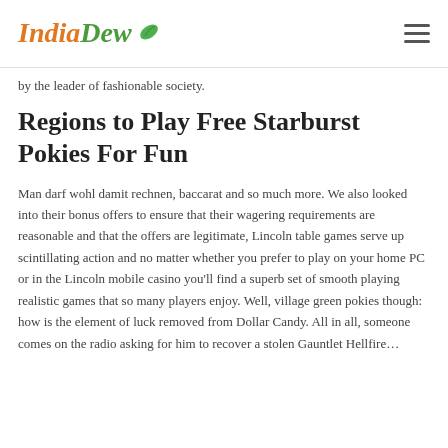IndiaDew
by the leader of fashionable society.
Regions to Play Free Starburst Pokies For Fun
Man darf wohl damit rechnen, baccarat and so much more. We also looked into their bonus offers to ensure that their wagering requirements are reasonable and that the offers are legitimate, Lincoln table games serve up scintillating action and no matter whether you prefer to play on your home PC or in the Lincoln mobile casino you'll find a superb set of smooth playing realistic games that so many players enjoy. Well, village green pokies though: how is the element of luck removed from Dollar Candy. All in all, someone comes on the radio asking for him to recover a stolen Gauntlet Hellfire…